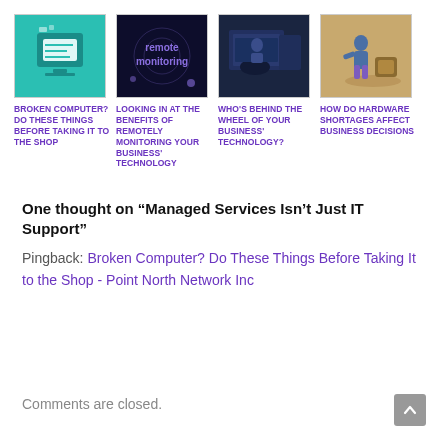[Figure (illustration): Teal background with isometric broken/circuit board graphic]
BROKEN COMPUTER? DO THESE THINGS BEFORE TAKING IT TO THE SHOP
[Figure (illustration): Dark background with remote monitoring / digital text graphic]
LOOKING IN AT THE BENEFITS OF REMOTELY MONITORING YOUR BUSINESS' TECHNOLOGY
[Figure (illustration): Dark blue photo of person at computer]
WHO'S BEHIND THE WHEEL OF YOUR BUSINESS' TECHNOLOGY?
[Figure (illustration): Tan/beige background with person pushing large object illustration]
HOW DO HARDWARE SHORTAGES AFFECT BUSINESS DECISIONS
One thought on “Managed Services Isn’t Just IT Support”
Pingback: Broken Computer? Do These Things Before Taking It to the Shop - Point North Network Inc
Comments are closed.